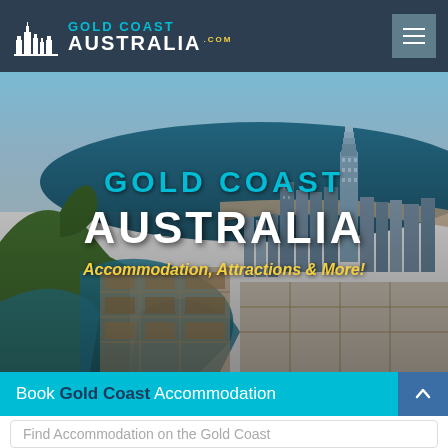Gold Coast Australia .com
[Figure (photo): Aerial photograph of Gold Coast, Australia showing the coastline, high-rise buildings, waterways and suburbs from above]
GOLD COAST AUSTRALIA
Accommodation, Attractions & More!
Book Gold Coast Accommodation
Find Accommodation on the Gold Coast